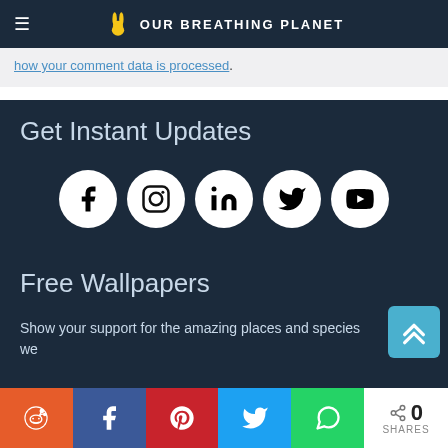OUR BREATHING PLANET
how your comment data is processed.
Get Instant Updates
[Figure (infographic): Social media icons in white circles: Facebook, Instagram, LinkedIn, Twitter, YouTube]
Free Wallpapers
Show your support for the amazing places and species we
[Figure (other): Back to top button with upward chevron arrows in light blue]
Share buttons: Reddit, Facebook, Pinterest, Twitter, WhatsApp | 0 SHARES